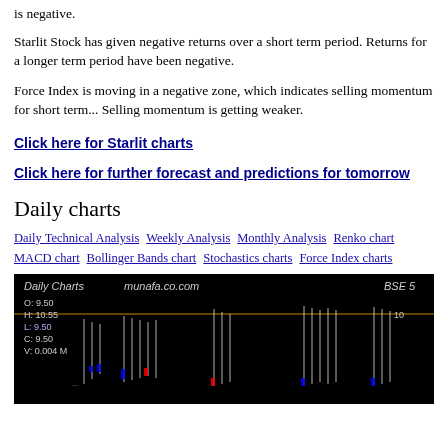is negative.
Starlit Stock has given negative returns over a short term period. Returns for a longer term period have been negative.
Force Index is moving in a negative zone, which indicates selling momentum for short term... Selling momentum is getting weaker.
Click here for Starlit charts
Click here for further forecast and predictions for tomorrow
Daily charts
Daily Technical Analysis  Weekly Analysis  Monthly Analysis  Renko chart  MACD chart  Bollinger Bands chart  Stochastics charts  Force Index charts
[Figure (other): Daily Charts candlestick chart from munafa.co.com showing BSE stock data with OHLCV values: O: 9.50, H: 10.55, L: 9.50, C: 9.50, V: 0.004 M. Chart shows white candlestick patterns with blue and red volume bars on black background.]